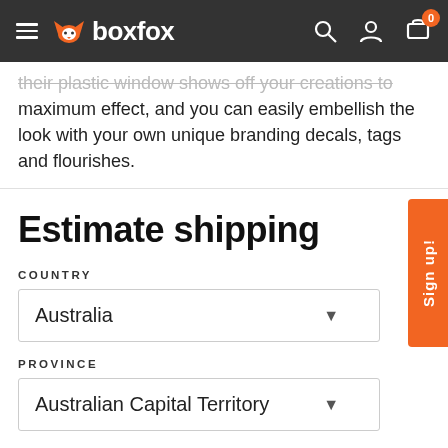boxfox — navigation bar with hamburger menu, logo, search, account, and cart (0 items)
maximum effect, and you can easily embellish the look with your own unique branding decals, tags and flourishes.
Estimate shipping
COUNTRY
Australia
PROVINCE
Australian Capital Territory
ZIP CODE